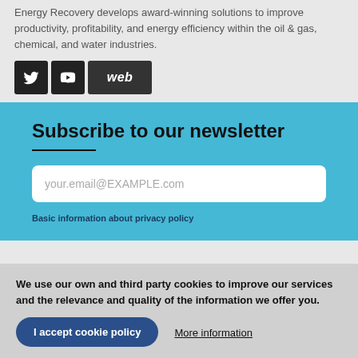Energy Recovery develops award-winning solutions to improve productivity, profitability, and energy efficiency within the oil & gas, chemical, and water industries.
[Figure (other): Social media icons: Twitter bird icon (dark background), YouTube logo icon (dark background), and 'web' text button (dark background)]
Subscribe to our newsletter
your.email@EXAMPLE.com
Basic information about privacy policy
We use our own and third party cookies to improve our services and the relevance and quality of the information we offer you.
I accept cookie policy
More information